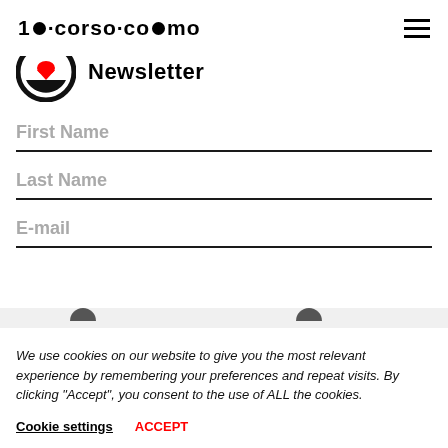10·corso·como (logo) + hamburger menu
[Figure (logo): 10 corso como brand logo with circular icon showing red heart/badge element]
Newsletter
First Name
Last Name
E-mail
We use cookies on our website to give you the most relevant experience by remembering your preferences and repeat visits. By clicking “Accept”, you consent to the use of ALL the cookies.
Cookie settings   ACCEPT